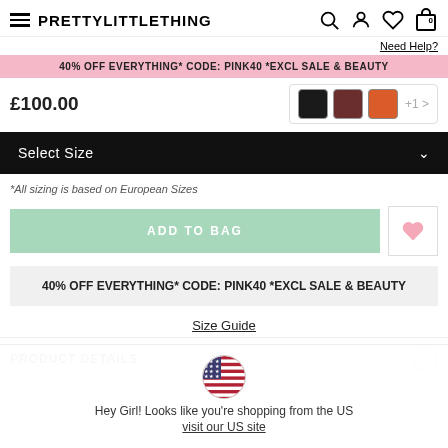PRETTYLITTLETHING
Need Help?
40% OFF EVERYTHING* CODE: PINK40 *EXCL SALE & BEAUTY
£100.00
Select Size
*All sizing is based on European Sizes
ADD TO BAG
40% OFF EVERYTHING* CODE: PINK40 *EXCL SALE & BEAUTY
Size Guide
PRODUCT DETAILS
Hey Girl! Looks like you're shopping from the US
visit our US site